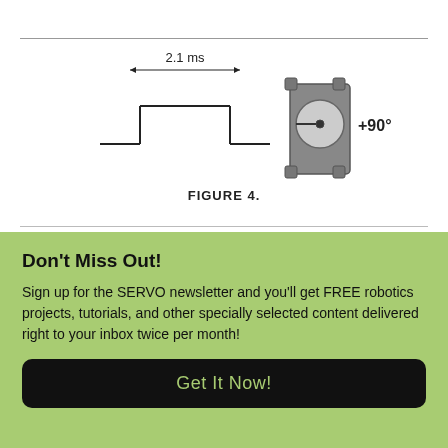[Figure (engineering-diagram): Engineering diagram showing a 2.1 ms pulse waveform on the left and a servo motor illustration at +90 degrees on the right]
FIGURE 4.
Don't Miss Out!
Sign up for the SERVO newsletter and you'll get FREE robotics projects, tutorials, and other specially selected content delivered right to your inbox twice per month!
Get It Now!